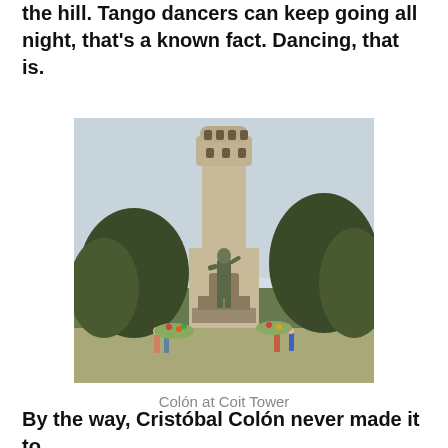the hill. Tango dancers can keep going all night, that's a known fact. Dancing, that is.
[Figure (photo): Photo of Colón statue standing in front of Coit Tower, San Francisco. The tall cylindrical concrete tower rises behind a bronze statue of a standing figure (Cristóbal Colón/Christopher Columbus). Trees and visitors are visible around the base.]
Colón at Coit Tower
By the way, Cristóbal Colón never made it to